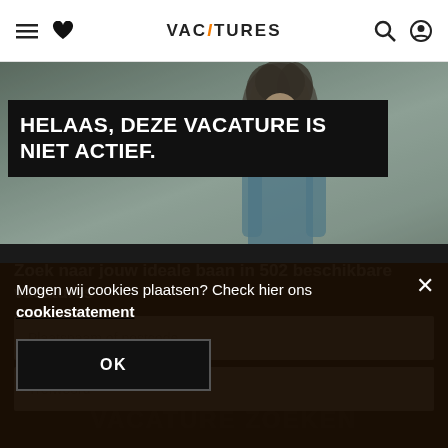IT Vacatures — navigation header with hamburger menu, heart icon, logo, search icon, profile icon
HELAAS, DEZE VACATURE IS NIET ACTIEF.
[Figure (photo): Background photo of a young woman with curly hair wearing a denim jacket, muted/dark tones, outdoors]
Zoek naar jouw ideale baan in 502 beschikbare vacatures
Plaatsnaam of postcode
Trefwoord
Mogen wij cookies plaatsen? Check hier ons cookiestatement
OK